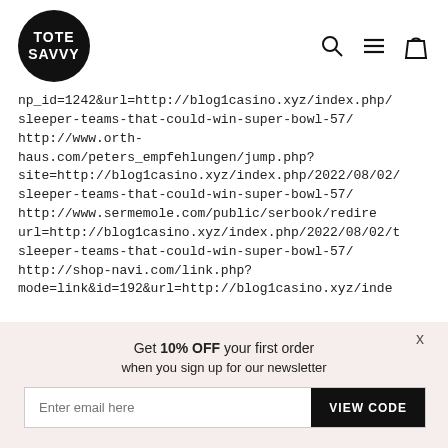[Figure (logo): Tote Savvy logo: white text on black circle]
[Figure (other): Navigation icons: search (magnifying glass), hamburger menu, shopping bag]
np_id=1242&url=http://blog1casino.xyz/index.php/sleeper-teams-that-could-win-super-bowl-57/ http://www.orth-haus.com/peters_empfehlungen/jump.php?site=http://blog1casino.xyz/index.php/2022/08/02/sleeper-teams-that-could-win-super-bowl-57/ http://www.sermemole.com/public/serbook/redirect?url=http://blog1casino.xyz/index.php/2022/08/02/t sleeper-teams-that-could-win-super-bowl-57/ http://shop-navi.com/link.php?mode=link&id=192&url=http://blog1casino.xyz/inde
x
Get 10% OFF your first order when you sign up for our newsletter
Enter email here
VIEW CODE